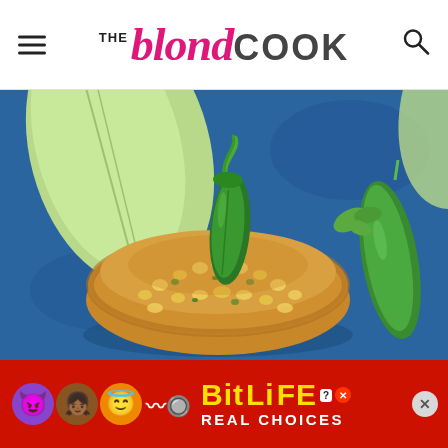THE blond COOK
[Figure (photo): Close-up food photo of a corn fritter/cake topped with a whole jalapeño pepper on a blue surface, with corn husk and jalapeño peppers in the background and a sprig of cilantro]
[Figure (infographic): BitLife mobile game advertisement banner with red background showing emoji characters (devil, person, angel, sperm), BitLife logo in yellow text with question mark badge and X button, and text 'REAL CHOICES']